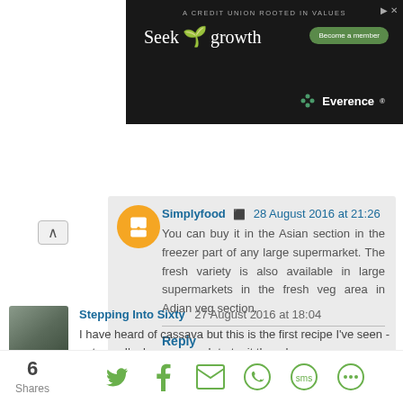[Figure (photo): Everence credit union advertisement banner: dark background showing a seedling growing from soil, text 'A CREDIT UNION ROOTED IN VALUES', 'Seek growth', 'Become a member' button, and Everence logo]
Simplyfood  28 August 2016 at 21:26
You can buy it in the Asian section in the freezer part of any large supermarket. The fresh variety is also available in large supermarkets in the fresh veg area in Adian veg section.
Reply
Stepping Into Sixty  27 August 2016 at 18:04
I have heard of cassava but this is the first recipe I've seen - not sure I'm brave enough to try it though.
Reply
6
Shares